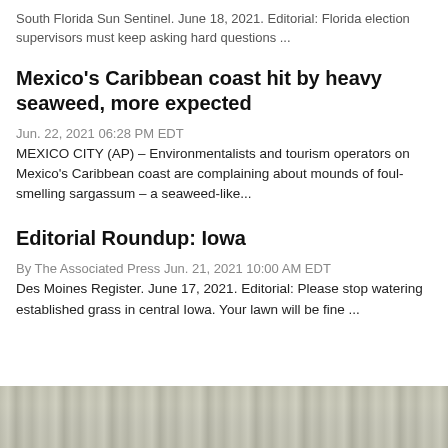South Florida Sun Sentinel. June 18, 2021. Editorial: Florida election supervisors must keep asking hard questions ...
Mexico's Caribbean coast hit by heavy seaweed, more expected
Jun. 22, 2021 06:28 PM EDT
MEXICO CITY (AP) – Environmentalists and tourism operators on Mexico's Caribbean coast are complaining about mounds of foul-smelling sargassum – a seaweed-like...
Editorial Roundup: Iowa
By The Associated Press Jun. 21, 2021 10:00 AM EDT
Des Moines Register. June 17, 2021. Editorial: Please stop watering established grass in central Iowa. Your lawn will be fine ...
[Figure (photo): Grayscale photo strip at bottom of page, appears to show a water or seaweed scene]